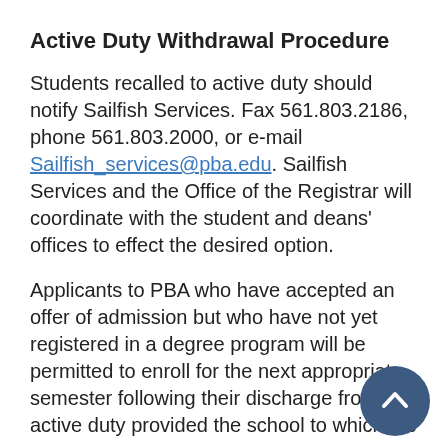Active Duty Withdrawal Procedure
Students recalled to active duty should notify Sailfish Services. Fax 561.803.2186, phone 561.803.2000, or e-mail Sailfish_services@pba.edu. Sailfish Services and the Office of the Registrar will coordinate with the student and deans' offices to effect the desired option.
Applicants to PBA who have accepted an offer of admission but who have not yet registered in a degree program will be permitted to enroll for the next appropriate semester following their discharge from active duty provided the school to which the student has been admitted is in place at the time.